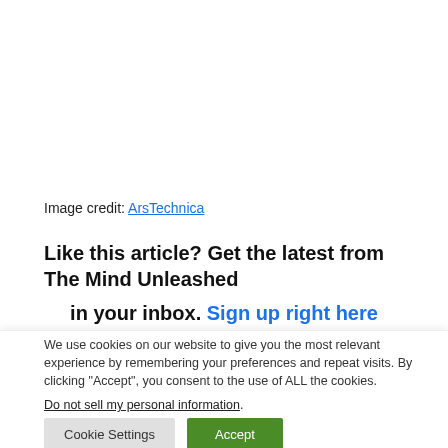Image credit: ArsTechnica
Like this article? Get the latest from The Mind Unleashed in your inbox. Sign up right here
We use cookies on our website to give you the most relevant experience by remembering your preferences and repeat visits. By clicking “Accept”, you consent to the use of ALL the cookies.
Do not sell my personal information.